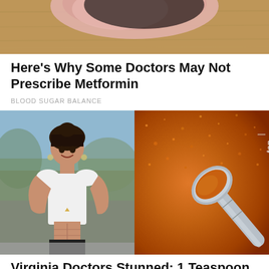[Figure (photo): Partial image of food/meat on a wooden surface, top portion visible]
Here's Why Some Doctors May Not Prescribe Metformin
BLOOD SUGAR BALANCE
[Figure (photo): Split composite image: left side shows a fit woman in white sports top flexing her abs outdoors; right side shows a teaspoon filled with orange/red spice powder]
Virginia Doctors Stunned: 1 Teaspoon Of This Burns 12 Lbs A Week
KETO